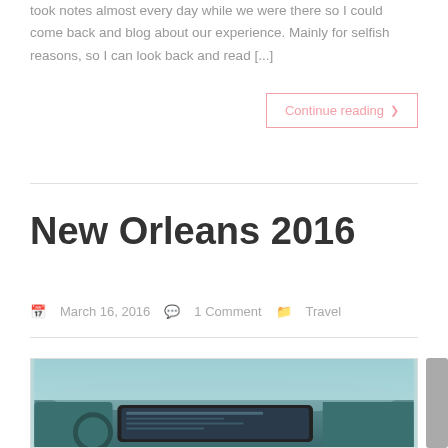took notes almost every day while we were there so I could come back and blog about our experience. Mainly for selfish reasons, so I can look back and read [...]
Continue reading ❯
New Orleans 2016
March 16, 2016   1 Comment   Travel
[Figure (photo): Photo of a car dashboard/interior with a screen visible, teal/blue toned]